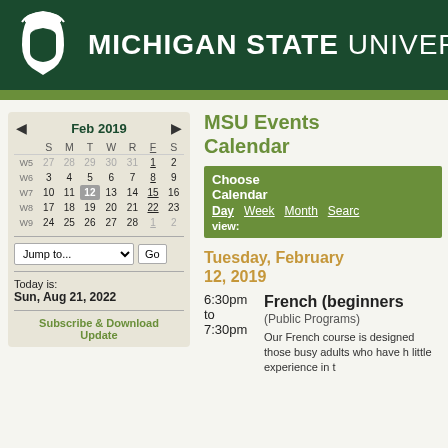MICHIGAN STATE UNIVERSITY
MSU Events Calendar
[Figure (other): Mini calendar widget showing February 2019 with weeks W5-W9, date 12 highlighted]
Today is:
Sun, Aug 21, 2022
Subscribe & Download Update
Choose Calendar view: Day Week Month Search
Tuesday, February 12, 2019
6:30pm to 7:30pm
French (beginners) (Public Programs)
Our French course is designed those busy adults who have h little experience in t